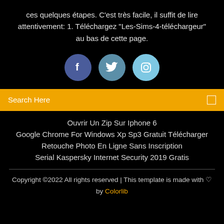ces quelques étapes. C'est très facile, il suffit de lire attentivement: 1. Téléchargez "Les-Sims-4-téléchargeur" au bas de cette page.
[Figure (illustration): Three social media icons: Facebook (dark blue circle with 'f'), Twitter (medium blue circle with bird icon), Instagram (light blue circle with camera icon)]
Search Here
Ouvrir Un Zip Sur Iphone 6
Google Chrome For Windows Xp Sp3 Gratuit Télécharger
Retouche Photo En Ligne Sans Inscription
Serial Kaspersky Internet Security 2019 Gratis
Copyright ©2022 All rights reserved | This template is made with ♡ by Colorlib